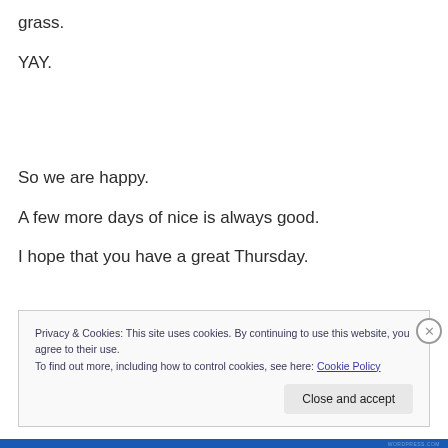grass.
YAY.
So we are happy.
A few more days of nice is always good.
I hope that you have a great Thursday.
Privacy & Cookies: This site uses cookies. By continuing to use this website, you agree to their use.
To find out more, including how to control cookies, see here: Cookie Policy
Close and accept